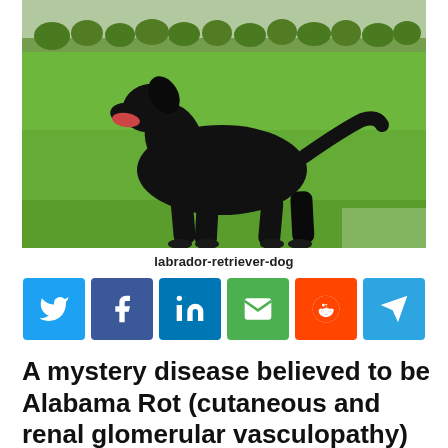[Figure (photo): A black Labrador Retriever dog standing on a green grass field with trees in the background, mouth open, tail raised.]
labrador-retriever-dog
[Figure (infographic): Social media sharing buttons: Twitter (blue), Facebook (dark blue), LinkedIn (blue), Email (green), Reddit (orange), Telegram (light blue)]
A mystery disease believed to be Alabama Rot (cutaneous and renal glomerular vasculopathy) is killing dogs around the